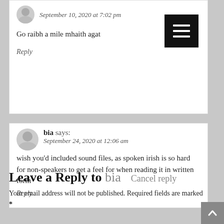September 10, 2020 at 7:02 pm
Go raibh a mile mhaith agat
Reply
bia says:
September 24, 2020 at 12:06 am
wish you'd included sound files, as spoken irish is so hard for non-speakers to get a feel for when reading it in written form
Reply
Leave a Reply to bia
Cancel reply
Your email address will not be published. Required fields are marked *